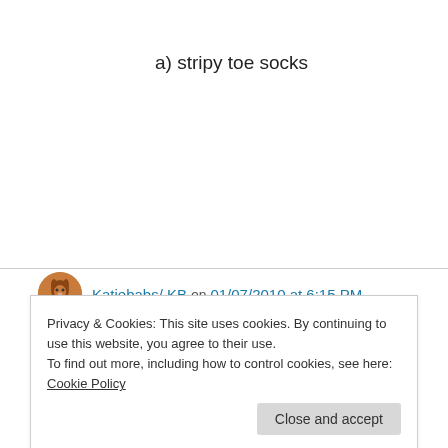a) stripy toe socks
↳ Reply
Katiebabs/ KB on 01/07/2010 at 6:15 PM
Nom. Hot looking bunny man.
Privacy & Cookies: This site uses cookies. By continuing to use this website, you agree to their use.
To find out more, including how to control cookies, see here: Cookie Policy
Close and accept
2. some background to one of the main protags.